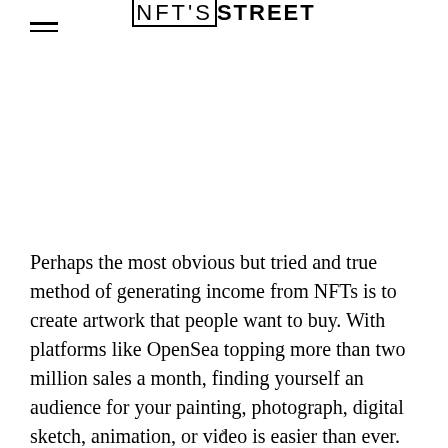NFT'S STREET
Perhaps the most obvious but tried and true method of generating income from NFTs is to create artwork that people want to buy. With platforms like OpenSea topping more than two million sales a month, finding yourself an audience for your painting, photograph, digital sketch, animation, or video is easier than ever.
x